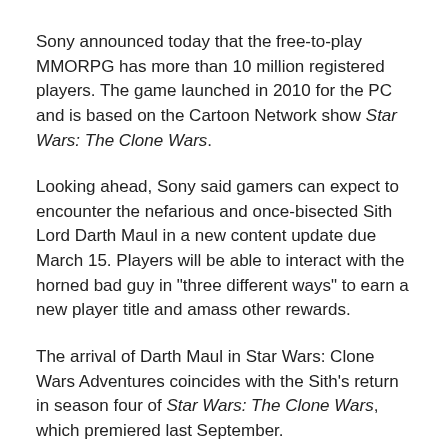Sony announced today that the free-to-play MMORPG has more than 10 million registered players. The game launched in 2010 for the PC and is based on the Cartoon Network show Star Wars: The Clone Wars.
Looking ahead, Sony said gamers can expect to encounter the nefarious and once-bisected Sith Lord Darth Maul in a new content update due March 15. Players will be able to interact with the horned bad guy in "three different ways" to earn a new player title and amass other rewards.
The arrival of Darth Maul in Star Wars: Clone Wars Adventures coincides with the Sith's return in season four of Star Wars: The Clone Wars, which premiered last September.
As for EA's Star Wars MMOG, The Old Republic shipped in December 2011 and sold 2 million units by the publisher's latest count. The game boasts 1.7 million subscribers, who each pay $15 per month to continue playing.